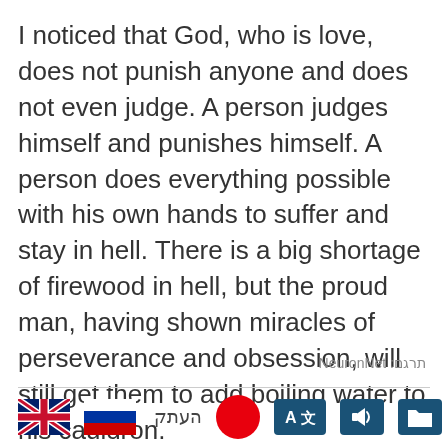I noticed that God, who is love, does not punish anyone and does not even judge.  A person judges himself and punishes himself.  A person does everything possible with his own hands to suffer and stay in hell.  There is a big shortage of firewood in hell, but the proud man, having shown miracles of perseverance and obsession, will still get them to add boiling water to his cauldron.
תרגם: NeuronNet
[Figure (infographic): Bottom toolbar with UK flag, Russian flag, Hebrew text העתק, red circle/record button, translate button with A and Chinese character, audio button, and folder button]